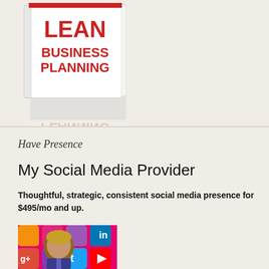[Figure (photo): Book cover showing 'LEAN BUSINESS PLANNING' text in red on white cover with reflection]
Have Presence
My Social Media Provider
Thoughtful, strategic, consistent social media presence for $495/mo and up.
[Figure (photo): Woman with blonde hair in front of colorful social media icon blocks including Twitter, LinkedIn, Google+, Instagram icons]